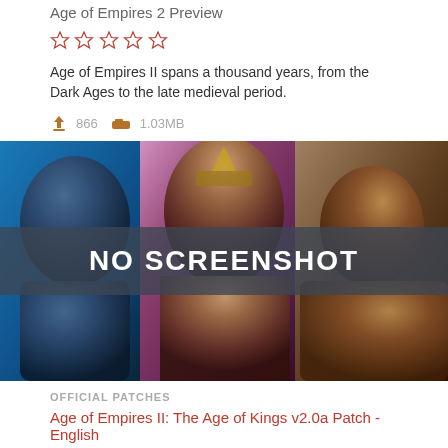Age of Empires 2 Preview
[Figure (other): Five empty star rating icons]
Age of Empires II spans a thousand years, from the Dark Ages to the late medieval period.
866   1.03MB
[Figure (screenshot): Age of Empires II artwork showing medieval warriors with a 'NO SCREENSHOT' overlay banner]
OFFICIAL PATCHES
Age of Empires II: The Age of Kings v2.0a Patch - English
[Figure (other): Five empty star rating icons]